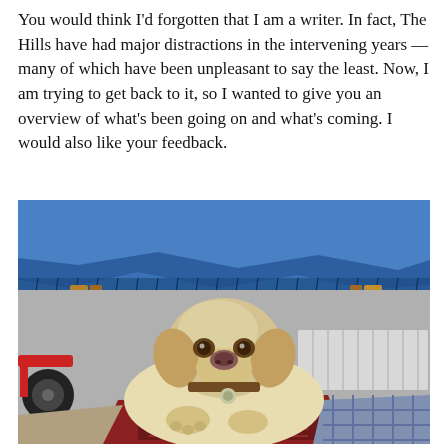You would think I'd forgotten that I am a writer. In fact, The Hills have had major distractions in the intervening years — many of which have been unpleasant to say the least. Now, I am trying to get back to it, so I wanted to give you an overview of what's been going on and what's coming. I would also like your feedback.
[Figure (photo): A yellow Labrador Retriever dog lying on cushions/pillows underneath a table covered with a blue denim tablecloth. The dog is looking directly at the camera. There are wooden table legs visible, and a plaid cushion to the right.]